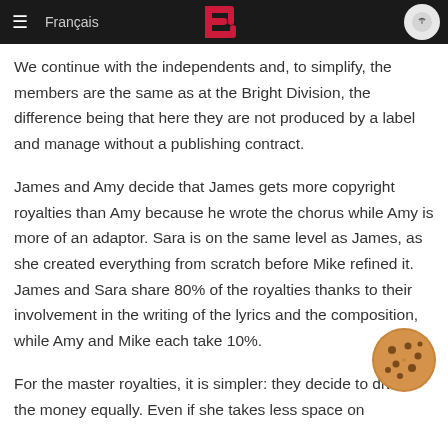≡  Français  [B logo]  [search icon]
We continue with the independents and, to simplify, the members are the same as at the Bright Division, the difference being that here they are not produced by a label and manage without a publishing contract.
James and Amy decide that James gets more copyright royalties than Amy because he wrote the chorus while Amy is more of an adaptor. Sara is on the same level as James, as she created everything from scratch before Mike refined it. James and Sara share 80% of the royalties thanks to their involvement in the writing of the lyrics and the composition, while Amy and Mike each take 10%.
For the master royalties, it is simpler: they decide to divide the money equally. Even if she takes less space on